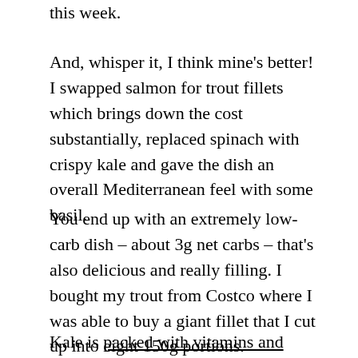this week.
And, whisper it, I think mine’s better! I swapped salmon for trout fillets which brings down the cost substantially, replaced spinach with crispy kale and gave the dish an overall Mediterranean feel with some basil.
You end up with an extremely low-carb dish – about 3g net carbs – that’s also delicious and really filling. I bought my trout from Costco where I was able to buy a giant fillet that I cut up into eight 150g portions.
Kale is packed with vitamins and minerals – including beta carotene, and vitamins K and C